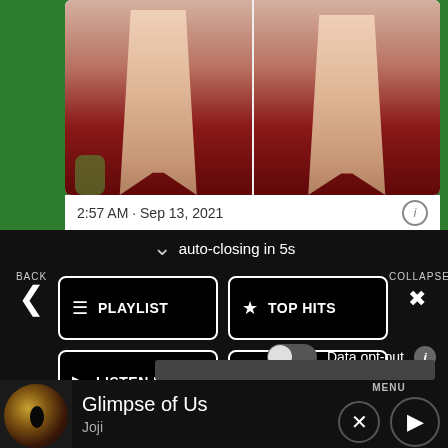[Figure (photo): Two photos side by side of women in dresses on a red carpet]
2:57 AM · Sep 13, 2021
auto-closing in 5s
PLAYLIST
TOP HITS
LISTEN LIVE
MY VOTES
CONTROLS
Data opt-out
[Figure (screenshot): Ad banner placeholder]
Glimpse of Us
Joji
MENU